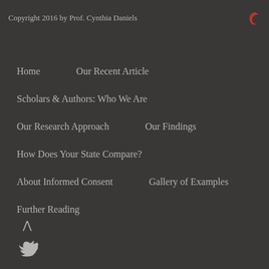Copyright 2016 by Prof. Cynthia Daniels
Home
Our Recent Article
Scholars & Authors: Who We Are
Our Research Approach
Our Findings
How Does Your State Compare?
About Informed Consent
Gallery of Examples
Further Reading